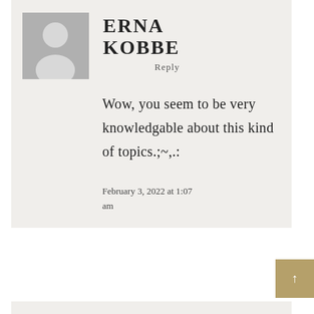ERNA KOBBE
Reply
Wow, you seem to be very knowledgable about this kind of topics.;~,.:
February 3, 2022 at 1:07 am